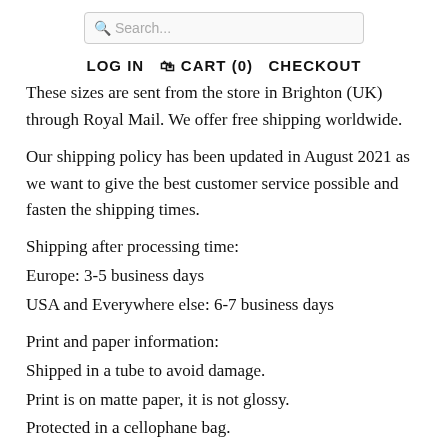Search...  LOG IN  CART (0)  CHECKOUT
These sizes are sent from the store in Brighton (UK) through Royal Mail. We offer free shipping worldwide.
Our shipping policy has been updated in August 2021 as we want to give the best customer service possible and fasten the shipping times.
Shipping after processing time:
Europe: 3-5 business days
USA and Everywhere else: 6-7 business days
Print and paper information:
Shipped in a tube to avoid damage.
Print is on matte paper, it is not glossy.
Protected in a cellophane bag.